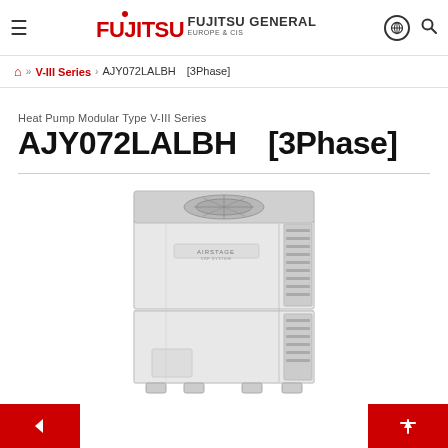FUJITSU  FUJITSU GENERAL EUROPE & CIS
Home » V-III Series › AJY072LALBH [3Phase]
Heat Pump Modular Type V-III Series
AJY072LALBH  [3Phase]
[Figure (photo): Fujitsu Airstage VRF outdoor unit (heat pump modular type), large white rectangular unit with fan on top and louvered panels on side, model AJY072LALBH]
Back navigation button | Scroll to top button